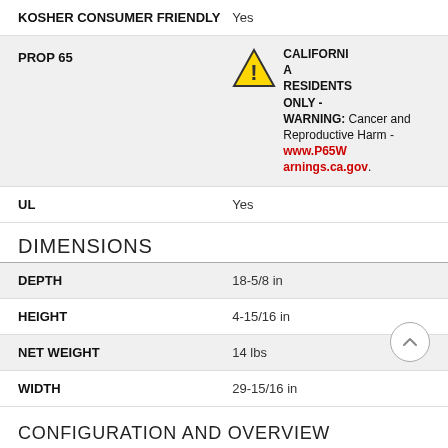| Property | Value |
| --- | --- |
| KOSHER CONSUMER FRIENDLY | Yes |
| PROP 65 | CALIFORNIA RESIDENTS ONLY - WARNING: Cancer and Reproductive Harm - www.P65Warnings.ca.gov. |
| UL | Yes |
DIMENSIONS
| Property | Value |
| --- | --- |
| DEPTH | 18-5/8 in |
| HEIGHT | 4-15/16 in |
| NET WEIGHT | 14 lbs |
| WIDTH | 29-15/16 in |
CONFIGURATION AND OVERVIEW